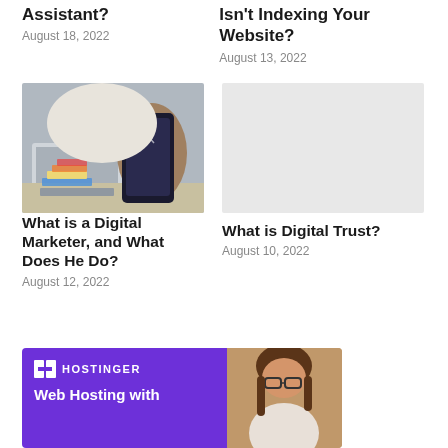Assistant?
August 18, 2022
Isn't Indexing Your Website?
August 13, 2022
[Figure (photo): Person using smartphone and laptop at desk with colorful sticky notes and documents]
[Figure (photo): Light grey placeholder image]
What is a Digital Marketer, and What Does He Do?
August 12, 2022
What is Digital Trust?
August 10, 2022
[Figure (illustration): Hostinger banner ad with purple background showing logo, 'Web Hosting with' text, and a person on the right]